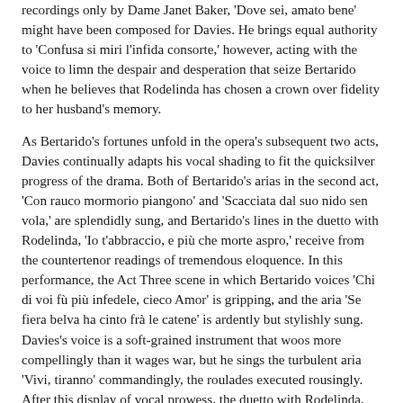recordings only by Dame Janet Baker, 'Dove sei, amato bene' might have been composed for Davies. He brings equal authority to 'Confusa si miri l'infida consorte,' however, acting with the voice to limn the despair and desperation that seize Bertarido when he believes that Rodelinda has chosen a crown over fidelity to her husband's memory.
As Bertarido's fortunes unfold in the opera's subsequent two acts, Davies continually adapts his vocal shading to fit the quicksilver progress of the drama. Both of Bertarido's arias in the second act, 'Con rauco mormorio piangono' and 'Scacciata dal suo nido sen vola,' are splendidly sung, and Bertarido's lines in the duetto with Rodelinda, 'Io t'abbraccio, e più che morte aspro,' receive from the countertenor readings of tremendous eloquence. In this performance, the Act Three scene in which Bertarido voices 'Chi di voi fù più infedele, cieco Amor' is gripping, and the aria 'Se fiera belva ha cinto frà le catene' is ardently but stylishly sung. Davies's voice is a soft-grained instrument that woos more compellingly than it wages war, but he sings the turbulent aria 'Vivi, tiranno' commandingly, the roulades executed rousingly. After this display of vocal prowess, the duetto with Rodelinda, 'Bhar…